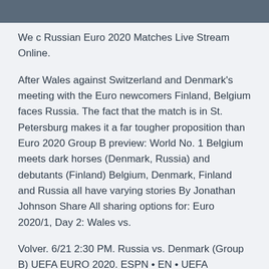[Figure (photo): Dark photograph strip at the top of the page]
We c Russian Euro 2020 Matches Live Stream Online.
After Wales against Switzerland and Denmark's meeting with the Euro newcomers Finland, Belgium faces Russia. The fact that the match is in St. Petersburg makes it a far tougher proposition than Euro 2020 Group B preview: World No. 1 Belgium meets dark horses (Denmark, Russia) and debutants (Finland) Belgium, Denmark, Finland and Russia all have varying stories By Jonathan Johnson Share All sharing options for: Euro 2020/1, Day 2: Wales vs.
Volver. 6/21 2:30 PM. Russia vs. Denmark (Group B) UEFA EURO 2020. ESPN • EN • UEFA European Championship. · Welcome to highlights of the EURO